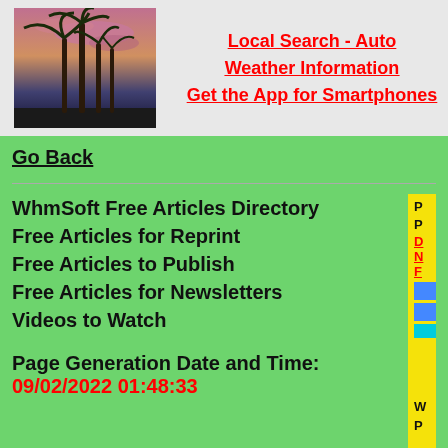[Figure (photo): Photo of palm trees silhouetted against a colorful sunset sky with purple and pink clouds]
Local Search - Auto
Weather Information
Get the App for Smartphones
Go Back
WhmSoft Free Articles Directory
Free Articles for Reprint
Free Articles to Publish
Free Articles for Newsletters
Videos to Watch
Page Generation Date and Time:
09/02/2022 01:48:33